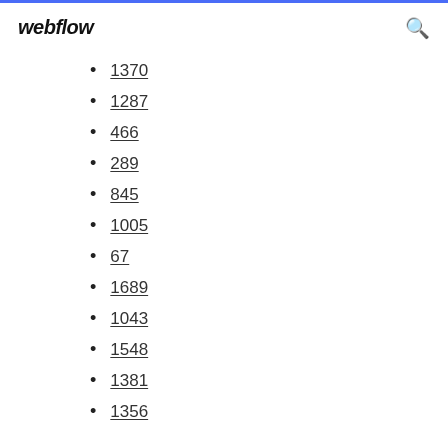webflow
1370
1287
466
289
845
1005
67
1689
1043
1548
1381
1356